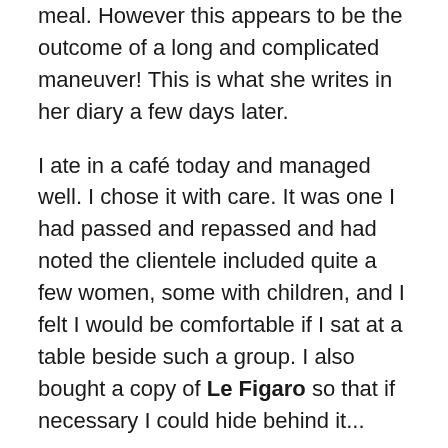meal. However this appears to be the outcome of a long and complicated maneuver! This is what she writes in her diary a few days later.
I ate in a café today and managed well. I chose it with care. It was one I had passed and repassed and had noted the clientele included quite a few women, some with children, and I felt I would be comfortable if I sat at a table beside such a group. I also bought a copy of Le Figaro so that if necessary I could hide behind it...
Millicent eventually does not need to use the newspaper for cover, and not only seems to enjoy her meal of fish soup and onion tart, which she has with some salad and white wine, but ends her meal on a triumphant note! She writes, “